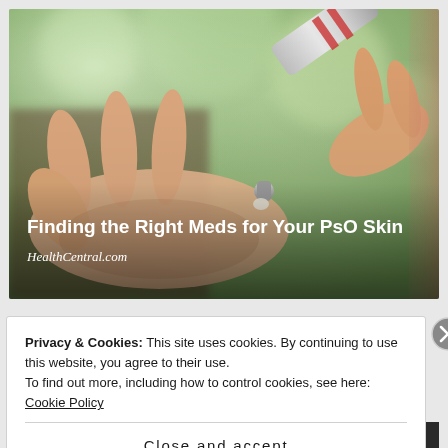[Figure (photo): Close-up photo of a hand with an open palm and a tube of cream/medication being squeezed onto it, set against a blurred green background. Overlaid text on the lower portion of the image reads 'Finding the Right Meds for Your PsO Skin' and 'HealthCentral.com'.]
Privacy & Cookies: This site uses cookies. By continuing to use this website, you agree to their use.
To find out more, including how to control cookies, see here: Cookie Policy
Close and accept